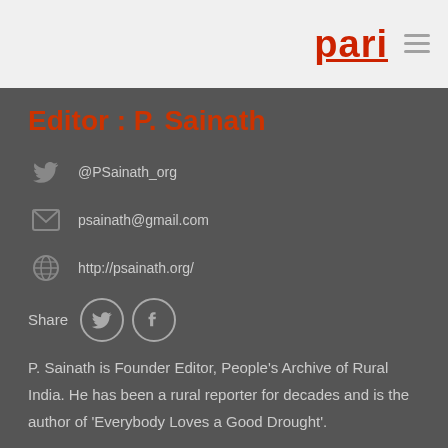pari
Editor : P. Sainath
@PSainath_org
psainath@gmail.com
http://psainath.org/
Share
P. Sainath is Founder Editor, People's Archive of Rural India. He has been a rural reporter for decades and is the author of 'Everybody Loves a Good Drought'.